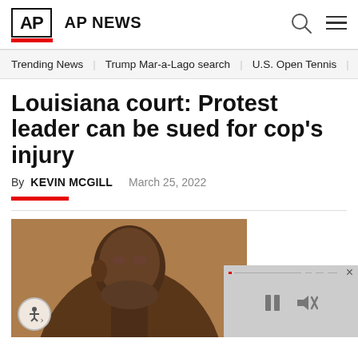AP NEWS
Trending News   Trump Mar-a-Lago search   U.S. Open Tennis
Louisiana court: Protest leader can be sued for cop's injury
By KEVIN McGILL   March 25, 2022
[Figure (photo): Portrait photo of a man looking upward, with a video player overlay in the bottom right corner showing pause and mute controls.]